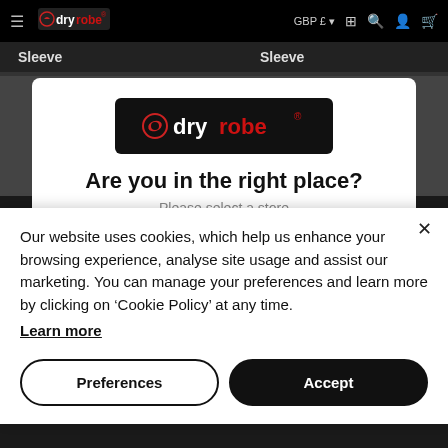dryrobe navigation bar with GBP £ currency selector
[Figure (screenshot): dryrobe e-commerce website background showing navbar and 'Sleeve' category headings]
[Figure (screenshot): dryrobe store selector modal with logo, heading 'Are you in the right place?' and 'Please select a store']
Our website uses cookies, which help us enhance your browsing experience, analyse site usage and assist our marketing. You can manage your preferences and learn more by clicking on ‘Cookie Policy’ at any time.
Learn more
Preferences
Accept